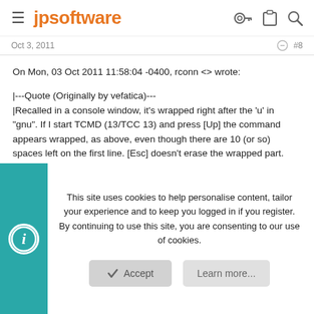jpsoftware
Oct 3, 2011  #8
On Mon, 03 Oct 2011 11:58:04 -0400, rconn <> wrote:
|---Quote (Originally by vefatica)---
|Recalled in a console window, it's wrapped right after the 'u' in "gnu". If I start TCMD (13/TCC 13) and press [Up] the command appears wrapped, as above, even though there are 10 (or so) spaces left on the first line. [Esc] doesn't erase the wrapped part.
|
|That does not happen in an identically-sized TCMD12.
|---End Quote---
|
This site uses cookies to help personalise content, tailor your experience and to keep you logged in if you register.
By continuing to use this site, you are consenting to our use of cookies.